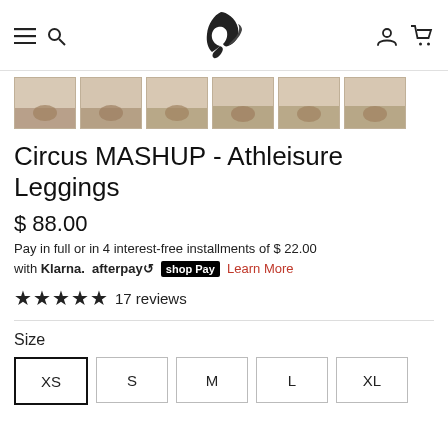Navigation bar with hamburger menu, search icon, logo (bird), user icon, cart icon
[Figure (photo): Strip of 6 thumbnail photos showing athleisure leggings product from ankle/foot view]
Circus MASHUP - Athleisure Leggings
$ 88.00
Pay in full or in 4 interest-free installments of $ 22.00 with Klarna. afterpay shop Pay Learn More
★★★★★ 17 reviews
Size
XS  S  M  L  XL